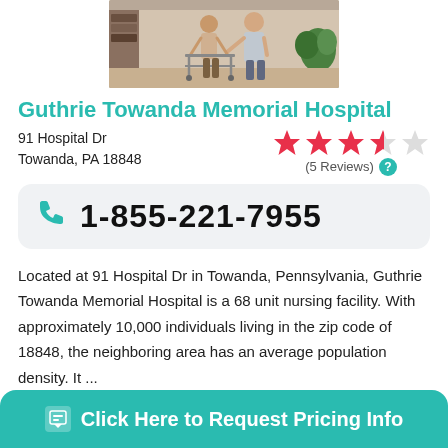[Figure (photo): Photo of two people, one assisting the other with a walker, indoor setting with plants and bookshelves]
Guthrie Towanda Memorial Hospital
91 Hospital Dr
Towanda, PA 18848
[Figure (other): Star rating: 3.5 out of 5 stars (5 Reviews)]
1-855-221-7955
Located at 91 Hospital Dr in Towanda, Pennsylvania, Guthrie Towanda Memorial Hospital is a 68 unit nursing facility. With approximately 10,000 individuals living in the zip code of 18848, the neighboring area has an average population density. It ...
27 miles away from Elmira, NY
Click Here to Request Pricing Info